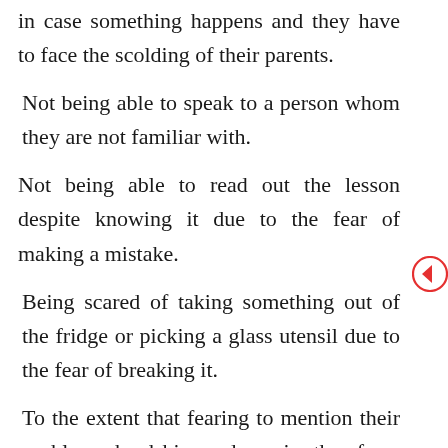in case something happens and they have to face the scolding of their parents.
Not being able to speak to a person whom they are not familiar with.
Not being able to read out the lesson despite knowing it due to the fear of making a mistake.
Being scared of taking something out of the fridge or picking a glass utensil due to the fear of breaking it.
To the extent that fearing to mention their problems, hardships and worries they face